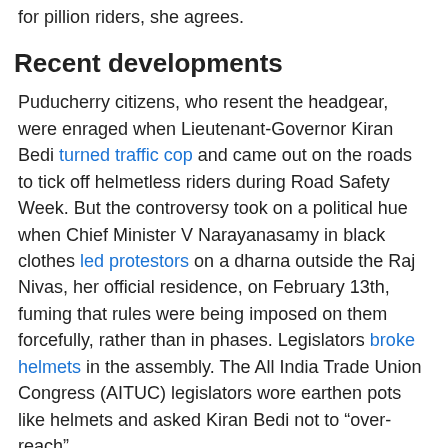for pillion riders, she agrees.
Recent developments
Puducherry citizens, who resent the headgear, were enraged when Lieutenant-Governor Kiran Bedi turned traffic cop and came out on the roads to tick off helmetless riders during Road Safety Week. But the controversy took on a political hue when Chief Minister V Narayanasamy in black clothes led protestors on a dharna outside the Raj Nivas, her official residence, on February 13th, fuming that rules were being imposed on them forcefully, rather than in phases. Legislators broke helmets in the assembly. The All India Trade Union Congress (AITUC) legislators wore earthen pots like helmets and asked Kiran Bedi not to “over-reach”.
On February 10th, the Lieutenant-Governor tweeted: